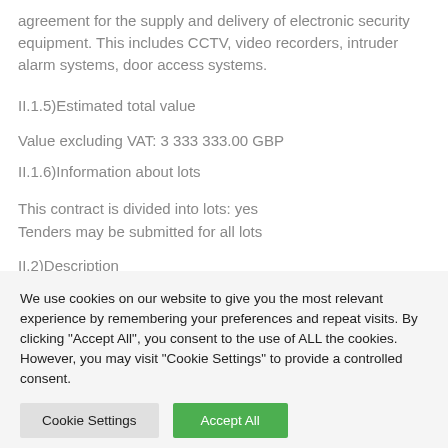agreement for the supply and delivery of electronic security equipment. This includes CCTV, video recorders, intruder alarm systems, door access systems.
II.1.5)Estimated total value
Value excluding VAT: 3 333 333.00 GBP
II.1.6)Information about lots
This contract is divided into lots: yes
Tenders may be submitted for all lots
II.2)Description
We use cookies on our website to give you the most relevant experience by remembering your preferences and repeat visits. By clicking "Accept All", you consent to the use of ALL the cookies. However, you may visit "Cookie Settings" to provide a controlled consent.